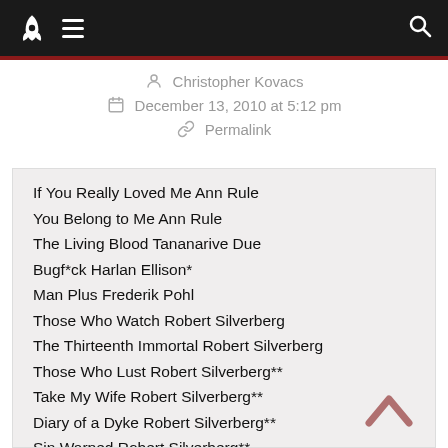Navigation bar with rocket logo, menu icon, and search icon
Christopher Kovacs
December 13, 2010 at 5:12 pm
Permalink
If You Really Loved Me Ann Rule
You Belong to Me Ann Rule
The Living Blood Tananarive Due
Bugf*ck Harlan Ellison*
Man Plus Frederik Pohl
Those Who Watch Robert Silverberg
The Thirteenth Immortal Robert Silverberg
Those Who Lust Robert Silverberg**
Take My Wife Robert Silverberg**
Diary of a Dyke Robert Silverberg**
Sin Warped Robert Silverberg**
Only the Depraved Robert Silverberg**